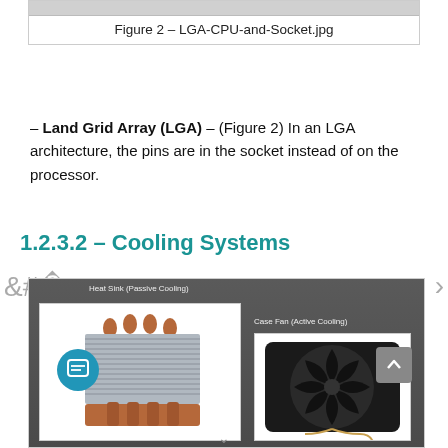Figure 2 – LGA-CPU-and-Socket.jpg
– Land Grid Array (LGA) – (Figure 2) In an LGA architecture, the pins are in the socket instead of on the processor.
1.2.3.2 – Cooling Systems
[Figure (photo): Cooling systems diagram showing a Heat Sink (Passive Cooling) on the left and a Case Fan (Active Cooling) on the right, on a dark gray background.]